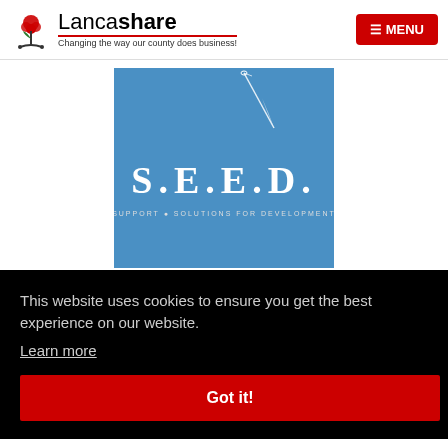Lancashare — Changing the way our county does business! MENU
[Figure (logo): S.E.E.D. logo on blue background with a needle/thread graphic and the text 'S.E.E.D.' in large letters with subtitle text below]
This website uses cookies to ensure you get the best experience on our website. Learn more
Got it!
only). Join our facilitators for…